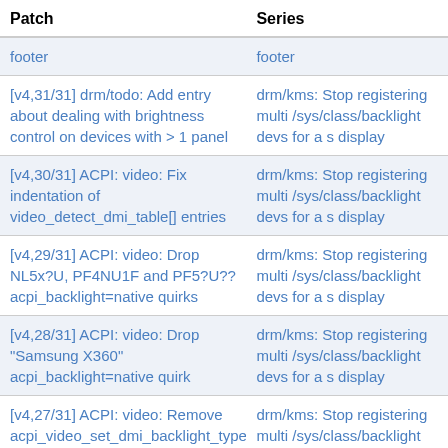| Patch | Series |
| --- | --- |
| footer | footer |
| [v4,31/31] drm/todo: Add entry about dealing with brightness control on devices with > 1 panel | drm/kms: Stop registering multi /sys/class/backlight devs for a s display |
| [v4,30/31] ACPI: video: Fix indentation of video_detect_dmi_table[] entries | drm/kms: Stop registering multi /sys/class/backlight devs for a s display |
| [v4,29/31] ACPI: video: Drop NL5x?U, PF4NU1F and PF5?U?? acpi_backlight=native quirks | drm/kms: Stop registering multi /sys/class/backlight devs for a s display |
| [v4,28/31] ACPI: video: Drop "Samsung X360" acpi_backlight=native quirk | drm/kms: Stop registering multi /sys/class/backlight devs for a s display |
| [v4,27/31] ACPI: video: Remove acpi_video_set_dmi_backlight_type() | drm/kms: Stop registering multi /sys/class/backlight devs for a s display |
| [v4,26/31] platform/x86: samsung-laptop: Move acpi_backlight= [vendor|native] quirks to ACPI | drm/kms: Stop registering multi /sys/class/backlight devs for a s display |